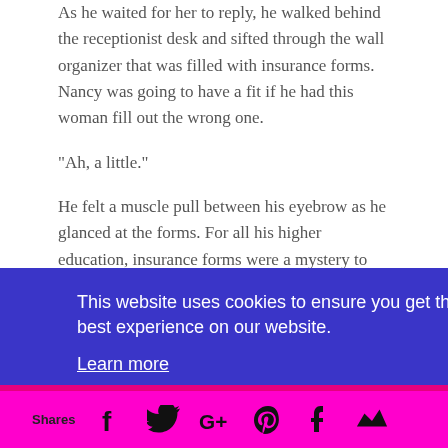As he waited for her to reply, he walked behind the receptionist desk and sifted through the wall organizer that was filled with insurance forms. Nancy was going to have a fit if he had this woman fill out the wrong one.
“Ah, a little.”
He felt a muscle pull between his eyebrow as he glanced at the forms. For all his higher education, insurance forms were a mystery to him. Finally he sighed and dropped the papers on
ot sure
ancy,
why
This website uses cookies to ensure you get the best experience on our website.
Learn more
Got it!
Shares